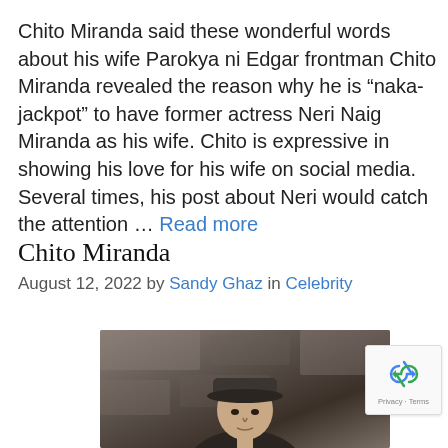Chito Miranda said these wonderful words about his wife Parokya ni Edgar frontman Chito Miranda revealed the reason why he is “naka-jackpot” to have former actress Neri Naig Miranda as his wife. Chito is expressive in showing his love for his wife on social media. Several times, his post about Neri would catch the attention … Read more
Chito Miranda
August 12, 2022 by Sandy Ghaz in Celebrity
[Figure (photo): Photo of Chito Miranda wearing a dark cap, looking downward, with a stone wall background]